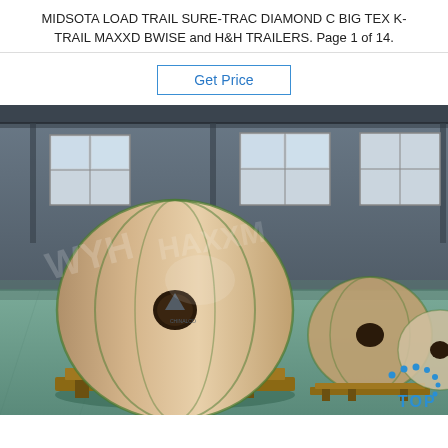MIDSOTA LOAD TRAIL SURE-TRAC DIAMOND C BIG TEX K-TRAIL MAXXD BWISE and H&H TRAILERS. Page 1 of 14.
Get Price
[Figure (photo): Industrial warehouse interior with large cylindrical rolls of metal/aluminum coil material wrapped in brown paper and bound with straps, placed on wooden pallets on a green concrete floor. A watermark overlay is visible. A 'TOP' logo with blue dots appears in the lower right corner.]